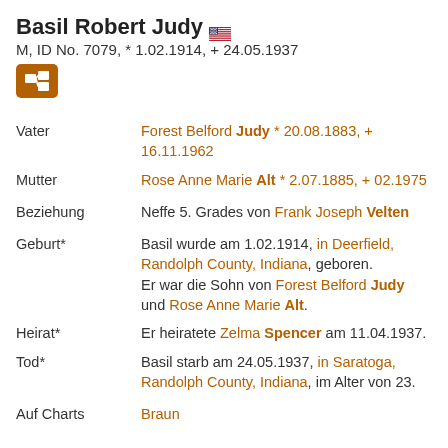Basil Robert Judy
M, ID No. 7079, * 1.02.1914, + 24.05.1937
| Field | Value |
| --- | --- |
| Vater | Forest Belford Judy * 20.08.1883, + 16.11.1962 |
| Mutter | Rose Anne Marie Alt * 2.07.1885, + 02.1975 |
| Beziehung | Neffe 5. Grades von Frank Joseph Velten |
| Geburt* | Basil wurde am 1.02.1914, in Deerfield, Randolph County, Indiana, geboren. Er war die Sohn von Forest Belford Judy und Rose Anne Marie Alt. |
| Heirat* | Er heiratete Zelma Spencer am 11.04.1937. |
| Tod* | Basil starb am 24.05.1937, in Saratoga, Randolph County, Indiana, im Alter von 23. |
| Auf Charts | Braun |